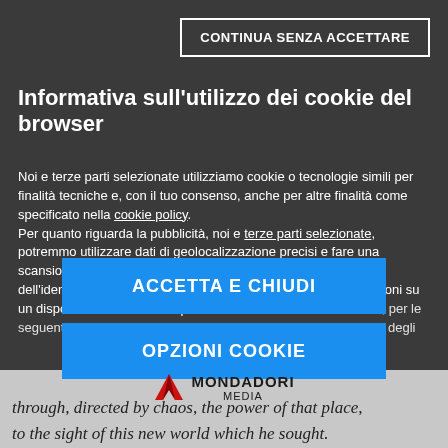CONTINUA SENZA ACCETTARE
Informativa sull'utilizzo dei cookie del browser
Noi e terze parti selezionate utilizziamo cookie o tecnologie simili per finalità tecniche e, con il tuo consenso, anche per altre finalità come specificato nella cookie policy. Per quanto riguarda la pubblicità, noi e terze parti selezionate, potremmo utilizzare dati di geolocalizzazione precisi e fare una scansione attiva delle caratteristiche del dispositivo ai fini dell'identificazione, al fine di archiviare e/o accedere a informazioni su un dispositivo e trattare dati personali come i tuoi dati di utilizzo, per le seguenti finalità: annunci e contenuti personalizzati, valutazione degli
ACCETTA E CHIUDI
OPZIONI COOKIE
[Figure (logo): Mondadori Media logo with red M-shaped mountain icon and bold text MONDADORI MEDIA]
through, directed by chaos, the power of that place, to the sight of this new world which he sought.